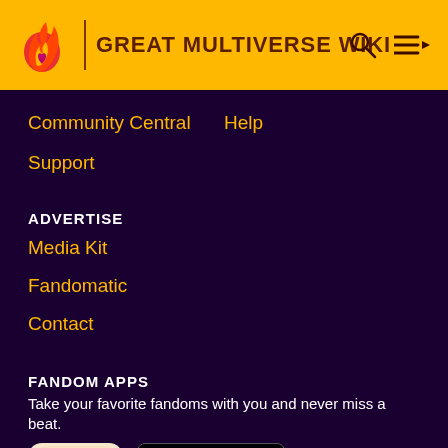GREAT MULTIVERSE WIKI
Community Central
Help
Support
ADVERTISE
Media Kit
Fandomatic
Contact
FANDOM APPS
Take your favorite fandoms with you and never miss a beat.
[Figure (screenshot): Fandom app icon and app store download badges: Download on the App Store and GET IT ON Google Play]